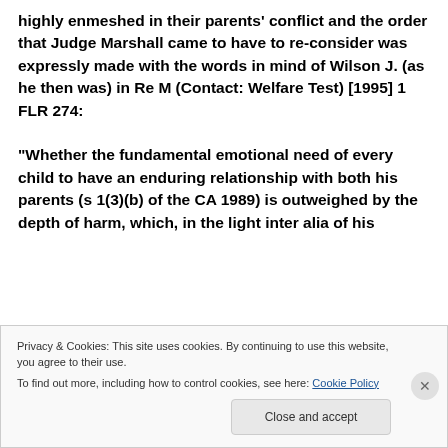highly enmeshed in their parents' conflict and the order that Judge Marshall came to have to re-consider was expressly made with the words in mind of Wilson J. (as he then was) in Re M (Contact: Welfare Test) [1995] 1 FLR 274:
“Whether the fundamental emotional need of every child to have an enduring relationship with both his parents (s 1(3)(b) of the CA 1989) is outweighed by the depth of harm, which, in the light inter alia of his
Privacy & Cookies: This site uses cookies. By continuing to use this website, you agree to their use.
To find out more, including how to control cookies, see here: Cookie Policy